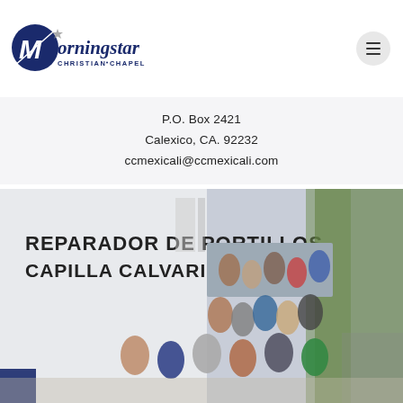[Figure (logo): Morningstar Christian Chapel logo — blue circle with stylized M and star, script text 'Morningstar' with 'CHRISTIAN CHAPEL' underneath]
P.O. Box 2421
Calexico, CA. 92232
ccmexicali@ccmexicali.com
[Figure (photo): Large group photo of congregation members in front of a white building with text 'REPARADOR DE PORTILLOS CAPILLA CALVARIO MEXICALI'. People are gathered on stairs and walkway beside trees.]